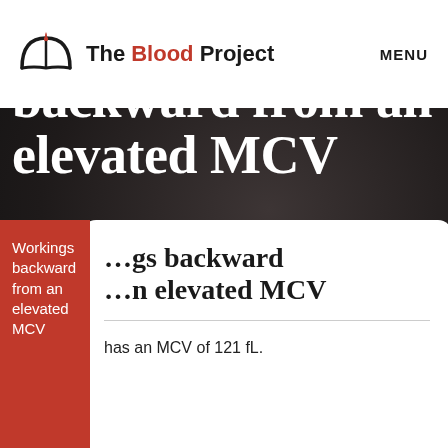The Blood Project | MENU
Workings backward from an elevated MCV
Workings backward from an elevated MCV
has an MCV of 121 fL.